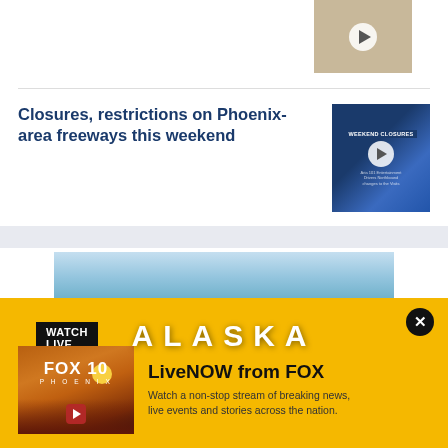[Figure (screenshot): Small video thumbnail showing aerial/road view with play button]
Closures, restrictions on Phoenix-area freeways this weekend
[Figure (screenshot): Video thumbnail showing aerial map with WEEKEND CLOSURES label and play button]
[Figure (photo): Large photo/advertisement image of glaciers with text ALASKA overlaid in white letters]
WATCH LIVE
[Figure (screenshot): FOX 10 Phoenix live stream thumbnail with sunset background]
LiveNOW from FOX
Watch a non-stop stream of breaking news, live events and stories across the nation.